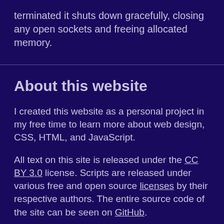terminated it shuts down gracefully, closing any open sockets and freeing allocated memory.
About this website
I created this website as a personal project in my free time to learn more about web design, CSS, HTML, and JavaScript.
All text on this site is released under the CC BY 3.0 license. Scripts are released under various free and open source licenses by their respective authors. The entire source code of the site can be seen on GitHub.